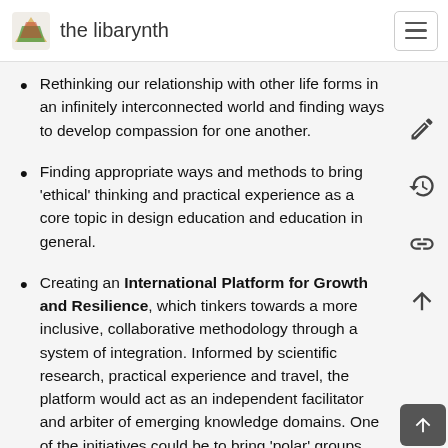the libarynth
Rethinking our relationship with other life forms in an infinitely interconnected world and finding ways to develop compassion for one another.
Finding appropriate ways and methods to bring 'ethical' thinking and practical experience as a core topic in design education and education in general.
Creating an International Platform for Growth and Resilience, which tinkers towards a more inclusive, collaborative methodology through a system of integration. Informed by scientific research, practical experience and travel, the platform would act as an independent facilitator and arbiter of emerging knowledge domains. One of the initiatives could be to bring 'polar' groups together to find a common ground. These groups could include young and old; scientists